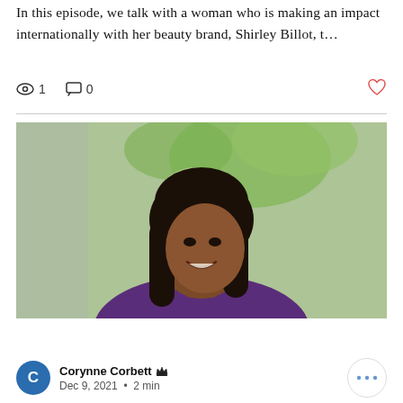In this episode, we talk with a woman who is making an impact internationally with her beauty brand, Shirley Billot, t…
[Figure (photo): Portrait photo of a smiling woman with long black hair wearing a purple top, with a blurred green outdoor background]
Corynne Corbett 👑
Dec 9, 2021 · 2 min